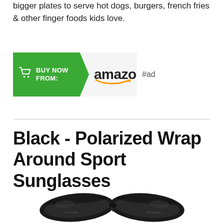bigger plates to serve hot dogs, burgers, french fries & other finger foods kids love.
[Figure (other): Buy Now from Amazon button with green arrow and Amazon logo, followed by #ad label]
Black - Polarized Wrap Around Sport Sunglasses
[Figure (photo): Bottom portion of black polarized wrap around sport sunglasses]